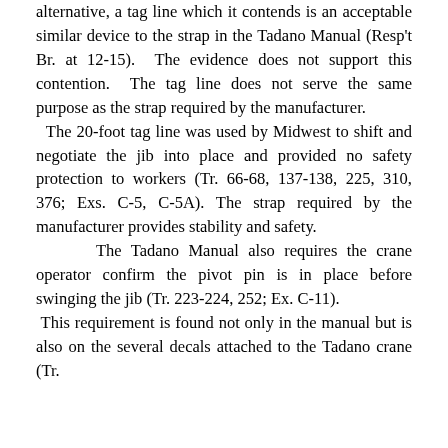alternative, a tag line which it contends is an acceptable similar device to the strap in the Tadano Manual (Resp't Br. at 12-15). The evidence does not support this contention. The tag line does not serve the same purpose as the strap required by the manufacturer. The 20-foot tag line was used by Midwest to shift and negotiate the jib into place and provided no safety protection to workers (Tr. 66-68, 137-138, 225, 310, 376; Exs. C-5, C-5A). The strap required by the manufacturer provides stability and safety. The Tadano Manual also requires the crane operator confirm the pivot pin is in place before swinging the jib (Tr. 223-224, 252; Ex. C-11). This requirement is found not only in the manual but is also on the several decals attached to the Tadano crane (Tr.